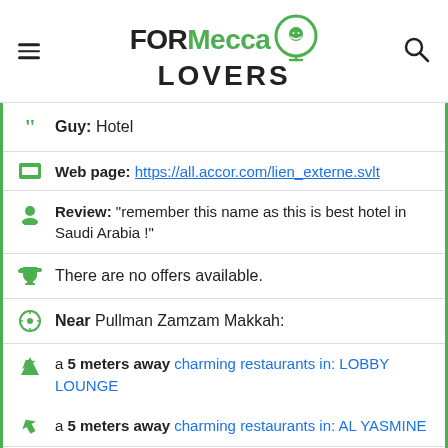FORMecca LOVERS
Guy: Hotel
Web page: https://all.accor.com/lien_externe.svlt
Review: "remember this name as this is best hotel in Saudi Arabia !"
There are no offers available.
Near Pullman Zamzam Makkah:
a 5 meters away charming restaurants in: LOBBY LOUNGE
a 5 meters away charming restaurants in: AL YASMINE
Are you the owner of the business? PROMOTE IT!